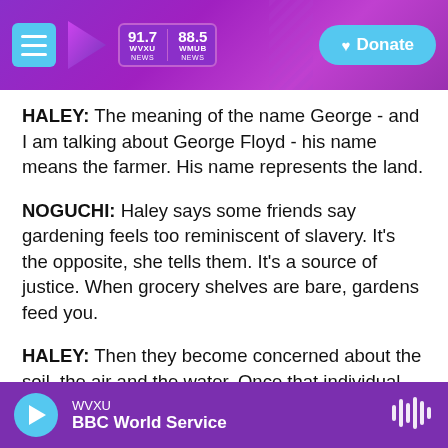WVXU 91.7 NEWS | 88.5 WHUB NEWS | Donate
HALEY: The meaning of the name George - and I am talking about George Floyd - his name means the farmer. His name represents the land.
NOGUCHI: Haley says some friends say gardening feels too reminiscent of slavery. It's the opposite, she tells them. It's a source of justice. When grocery shelves are bare, gardens feed you.
HALEY: Then they become concerned about the soil, the air and the water. Once that individual makes that change, then their social circle changes. Their children make different decisions.
WVXU | BBC World Service